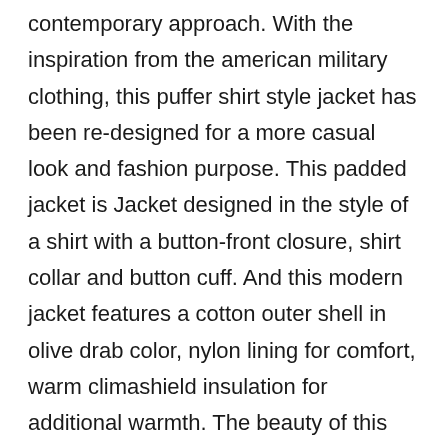contemporary approach. With the inspiration from the american military clothing, this puffer shirt style jacket has been re-designed for a more casual look and fashion purpose. This padded jacket is Jacket designed in the style of a shirt with a button-front closure, shirt collar and button cuff. And this modern jacket features a cotton outer shell in olive drab color, nylon lining for comfort, warm climashield insulation for additional warmth. The beauty of this piece is the balance of classic construction and modern updates from Moduct. And this padded jacket originally intended to wear as a Classic Relaxed Fit (a extra room around the chest and body and broader shoulders) to allow bulky and warmer layers to be worn underneath and and allow a full range of motion. This winter outerwear jacket is suitable for fall and winter. This item is recommended by Moduct from Top Enterprise.